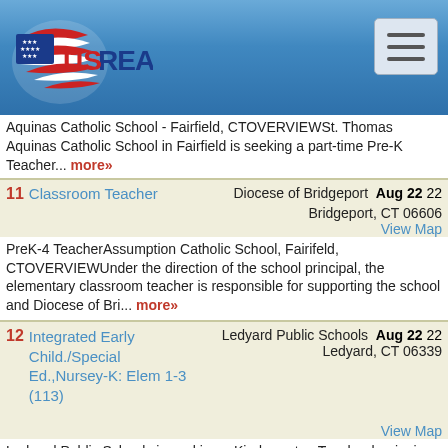USREAP
Aquinas Catholic School - Fairfield, CTOVERVIEWSt. Thomas Aquinas Catholic School in Fairfield is seeking a part-time Pre-K Teacher... more»
11 Classroom Teacher | Diocese of Bridgeport | Bridgeport, CT 06606 | Aug 22 22 | View Map
PreK-4 TeacherAssumption Catholic School, Fairifeld, CTOVERVIEWUnder the direction of the school principal, the elementary classroom teacher is responsible for supporting the school and Diocese of Bri... more»
12 Integrated Early Child./Special Ed.,Nursey-K: Elem 1-3 (113) | Ledyard Public Schools | Ledyard, CT 06339 | Aug 22 22 | View Map
Ledyard Public Schools is seeking a Kindergarten Teacher beginning in the 2022 - 2023 school year. The successful candidate will work under the general supervision of the School Administrator to facil... more»
13 Classroom Teacher | Montgomery Co Intermediate Unit #23 | Norristown, PA 19403 | Aug 22 22 | View Map
Vacancies exists for PreK Counts - Teachers to work within the Office of Early Childhood Services. Pre-K Counts at the Montgomery Co Intermediate Un...